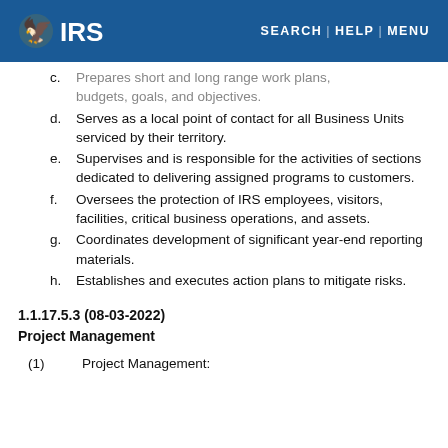IRS | SEARCH | HELP | MENU
c. Prepares short and long range work plans, budgets, goals, and objectives.
d. Serves as a local point of contact for all Business Units serviced by their territory.
e. Supervises and is responsible for the activities of sections dedicated to delivering assigned programs to customers.
f. Oversees the protection of IRS employees, visitors, facilities, critical business operations, and assets.
g. Coordinates development of significant year-end reporting materials.
h. Establishes and executes action plans to mitigate risks.
1.1.17.5.3 (08-03-2022)
Project Management
(1) Project Management: